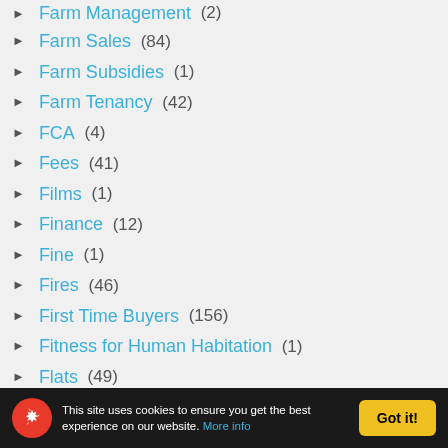Farm Sales (84)
Farm Subsidies (1)
Farm Tenancy (42)
FCA (4)
Fees (41)
Films (1)
Finance (12)
Fine (1)
Fires (46)
First Time Buyers (156)
Fitness for Human Habitation (1)
Flats (49)
Flexible Office (8)
Flipping (1)
Flooding (partial)
This site uses cookies to ensure you get the best experience on our website. More info